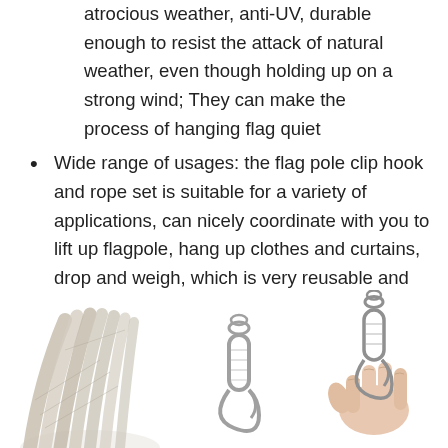atrocious weather, anti-UV, durable enough to resist the attack of natural weather, even though holding up on a strong wind; They can make the process of hanging flag quiet
Wide range of usages: the flag pole clip hook and rope set is suitable for a variety of applications, can nicely coordinate with you to lift up flagpole, hang up clothes and curtains, drop and weigh, which is very reusable and convenient, strong and stable, also suitable for heavy equipments; They are also proper for varioius usages at home, like flag pole line, clothes rope, anchor lines, halyard rope, starter cords, tie downs, camping and more
[Figure (photo): Product photo showing rope/cord material, two metal snap hook clips, and a hand holding a snap hook clip]